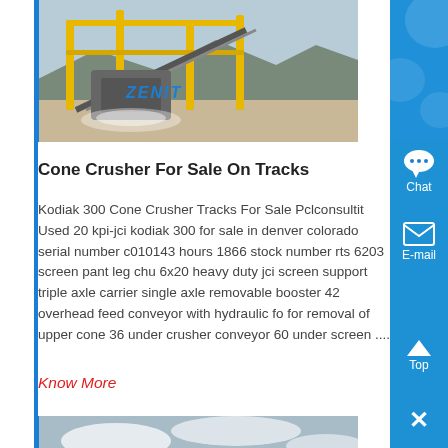[Figure (photo): Industrial cone crusher machinery (ZENIT brand) at a quarry or construction site, with yellow metal framework and conveyor equipment visible.]
Cone Crusher For Sale On Tracks
Kodiak 300 Cone Crusher Tracks For Sale Pclconsultit Used 20 kpi-jci kodiak 300 for sale in denver colorado serial number c010143 hours 1866 stock number rts 6203 screen pant leg chu 6x20 heavy duty jci screen support triple axle carrier single axle removable booster 42 overhead feed conveyor with hydraulic fo for removal of upper cone 36 under crusher conveyor 60 under screen ....
Know More
[Figure (photo): Industrial crushing/screening machinery at an outdoor site with cloudy sky background.]